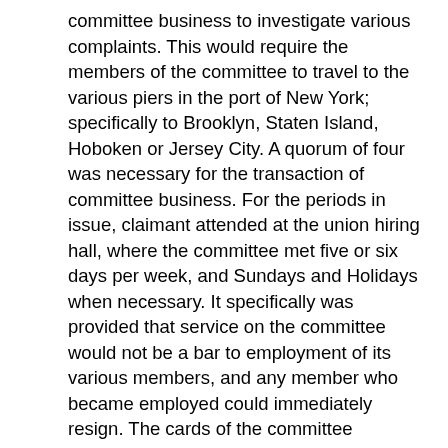committee business to investigate various complaints. This would require the members of the committee to travel to the various piers in the port of New York; specifically to Brooklyn, Staten Island, Hoboken or Jersey City. A quorum of four was necessary for the transaction of committee business. For the periods in issue, claimant attended at the union hiring hall, where the committee met five or six days per week, and Sundays and Holidays when necessary. It specifically was provided that service on the committee would not be a bar to employment of its various members, and any member who became employed could immediately resign. The cards of the committee members were automatically placed up for bid for jobs coming into the union hiring hall, and if a committee member's turn was reached, he would receive employment. One member of the committee became so employed during the course of his service on the committee. It was conceded by the Commissioner's representative that the claimant could assume employment and that claimant was actually in the labor market for work in his occupation. On September 7, 1949, at a general meeting of the